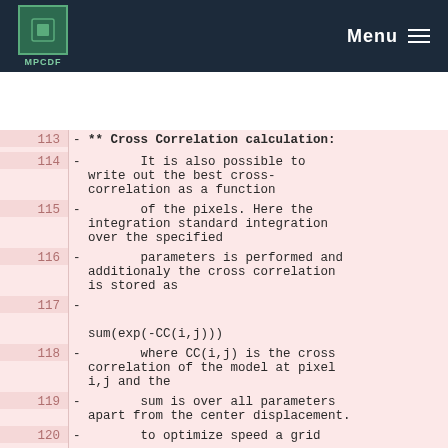MPCDF | Menu
There was a problem fetching the latest pipeline status.
113  - ** Cross Correlation calculation:
114  -       It is also possible to write out the best cross-correlation as a function
115  -       of the pixels. Here the integration standard integration over the specified
116  -       parameters is performed and additionaly the cross correlation is stored as
117  -
     sum(exp(-CC(i,j)))
118  -       where CC(i,j) is the cross correlation of the model at pixel i,j and the
119  -       sum is over all parameters apart from the center displacement.
120  -       to optimize speed a grid